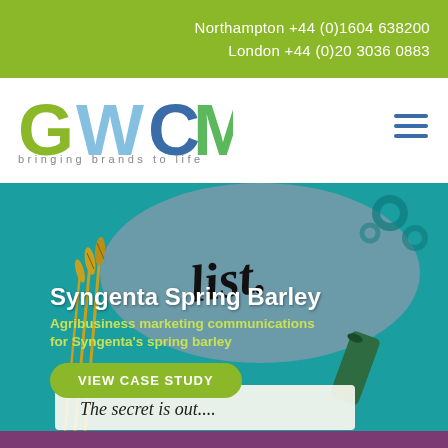Northampton +44 (0)1604 638200
London +44 (0)20 3036 0883
[Figure (logo): GWCM logo with tagline 'bringing brands to life']
[Figure (illustration): Syngenta Spring Barley agribusiness marketing case study hero image showing illustrated barley and 'The secret is out...' text on a teal background, with headline 'Syngenta Spring Barley', subtitle 'Agribusiness marketing communications for Syngenta's spring barley', and a green 'VIEW CASE STUDY' button]
Syngenta Spring Barley
Agribusiness marketing communications for Syngenta's spring barley
VIEW CASE STUDY
The secret is out....